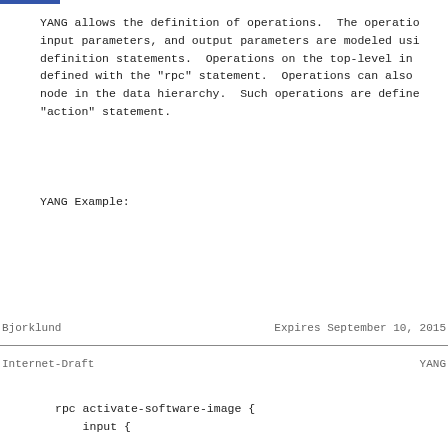YANG allows the definition of operations.  The operations input parameters, and output parameters are modeled using definition statements.  Operations on the top-level in defined with the "rpc" statement.  Operations can also node in the data hierarchy.  Such operations are defined "action" statement.
YANG Example:
Bjorklund                    Expires September 10, 2015
Internet-Draft                          YANG
rpc activate-software-image {
    input {